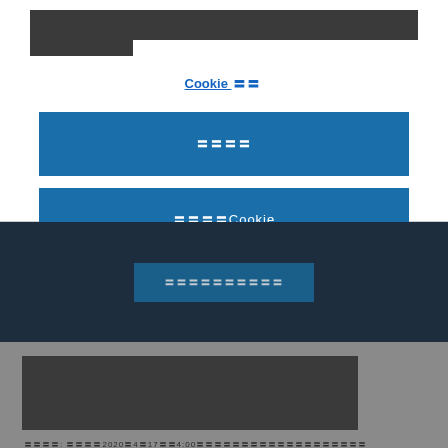〓〓 〓〓〓〓〓〓〓〓〓〓〓〓〓〓〓〓〓〓〓〓〓〓〓〓〓〓〓〓〓〓〓
〓〓〓〓〓〓〓〓〓
Cookie 〓〓
〓〓〓〓
〓〓〓〓Cookie
〓〓〓〓〓〓〓〓〓〓
〓〓〓〓〓〓〓〓〓〓〓〓〓〓〓〓〓〓〓〓〓〓〓〓
〓〓〓〓: 〓〓〓〓2020〓4〓17〓〓4:00〓〓〓〓〓〓〓〓〓〓〓〓〓〓〓〓〓〓〓